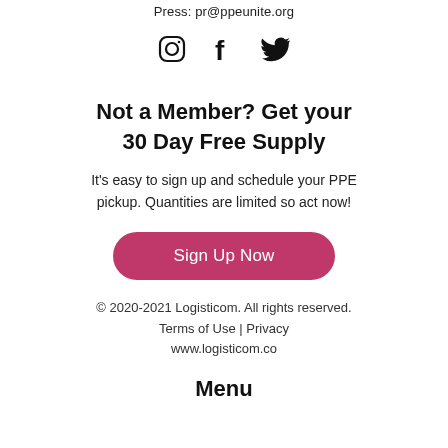Press: pr@ppeunite.org
[Figure (illustration): Social media icons: Instagram, Facebook, Twitter]
Not a Member? Get your 30 Day Free Supply
It's easy to sign up and schedule your PPE pickup. Quantities are limited so act now!
Sign Up Now
© 2020-2021 Logisticom. All rights reserved. Terms of Use | Privacy www.logisticom.co
Menu